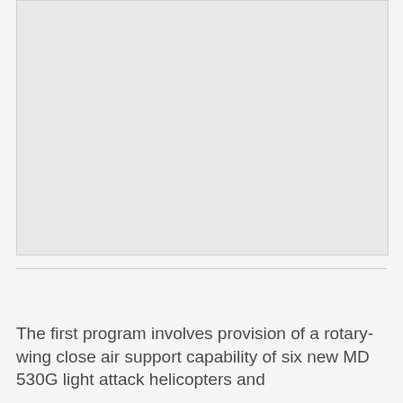[Figure (photo): Large photograph placeholder area — light gray rectangle representing an image (likely helicopter or military equipment photo).]
The first program involves provision of a rotary-wing close air support capability of six new MD 530G light attack helicopters and